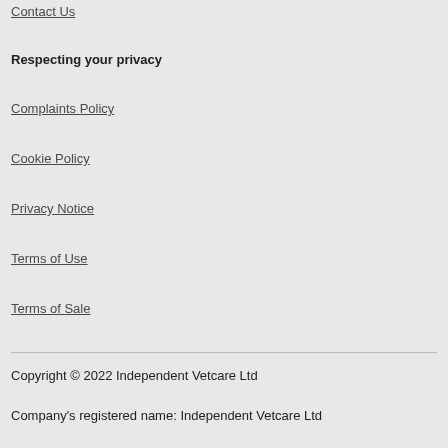Contact Us
Respecting your privacy
Complaints Policy
Cookie Policy
Privacy Notice
Terms of Use
Terms of Sale
Copyright © 2022 Independent Vetcare Ltd
Company's registered name: Independent Vetcare Ltd